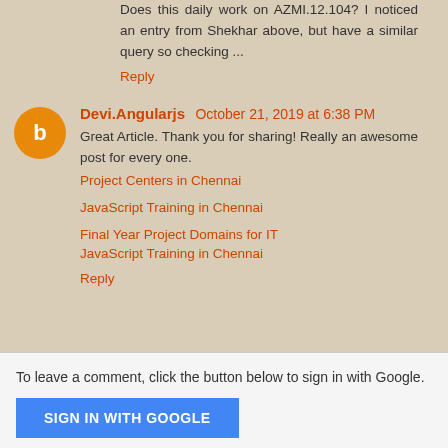Does this daily work on AZMI.12.104? I noticed an entry from Shekhar above, but have a similar query so checking ...
Reply
Devi.Angularjs  October 21, 2019 at 6:38 PM
Great Article. Thank you for sharing! Really an awesome post for every one.
Project Centers in Chennai
JavaScript Training in Chennai
Final Year Project Domains for IT
JavaScript Training in Chennai
Reply
To leave a comment, click the button below to sign in with Google.
SIGN IN WITH GOOGLE